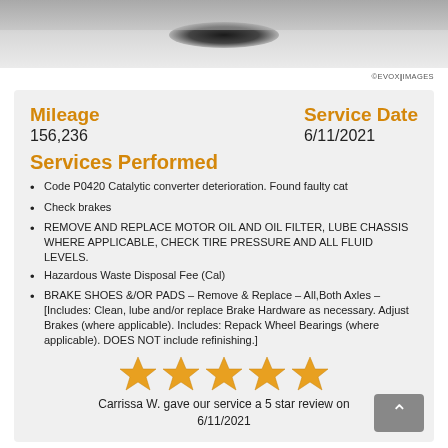[Figure (photo): Top portion of a car photo, partially cropped, showing dark vehicle against light background. EVOX IMAGES watermark in upper right.]
Mileage
156,236
Service Date
6/11/2021
Services Performed
Code P0420 Catalytic converter deterioration. Found faulty cat
Check brakes
REMOVE AND REPLACE MOTOR OIL AND OIL FILTER, LUBE CHASSIS WHERE APPLICABLE, CHECK TIRE PRESSURE AND ALL FLUID LEVELS.
Hazardous Waste Disposal Fee (Cal)
BRAKE SHOES &/OR PADS – Remove & Replace – All,Both Axles – [Includes: Clean, lube and/or replace Brake Hardware as necessary. Adjust Brakes (where applicable). Includes: Repack Wheel Bearings (where applicable). DOES NOT include refinishing.]
[Figure (illustration): Five gold/orange star rating icons in a row]
Carrissa W. gave our service a 5 star review on 6/11/2021